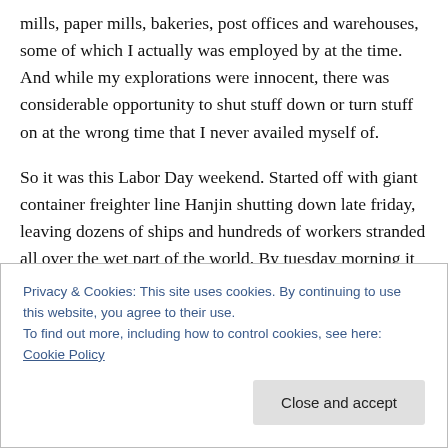mills, paper mills, bakeries, post offices and warehouses, some of which I actually was employed by at the time. And while my explorations were innocent, there was considerable opportunity to shut stuff down or turn stuff on at the wrong time that I never availed myself of.
So it was this Labor Day weekend. Started off with giant container freighter line Hanjin shutting down late friday, leaving dozens of ships and hundreds of workers stranded all over the wet part of the world. By tuesday morning it looked like they'd get around to filing a formal bankruptcy
Privacy & Cookies: This site uses cookies. By continuing to use this website, you agree to their use.
To find out more, including how to control cookies, see here: Cookie Policy